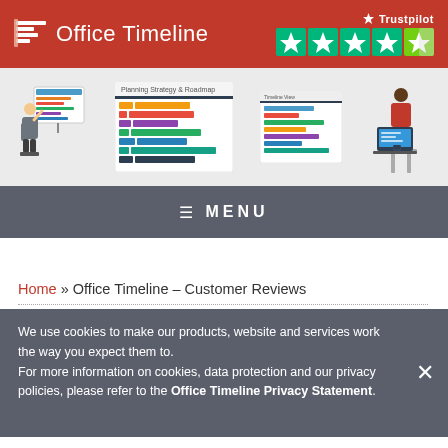Office Timeline — Trustpilot 5 stars
[Figure (screenshot): Banner showing four screenshots of timeline/Gantt chart slides with illustrated characters]
≡  MENU
Home » Office Timeline – Customer Reviews
We use cookies to make our products, website and services work the way you expect them to. For more information on cookies, data protection and our privacy policies, please refer to the Office Timeline Privacy Statement.